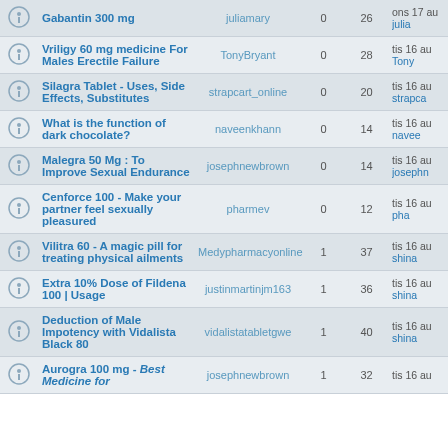|  | Topic | Author | Replies | Views | Last post |
| --- | --- | --- | --- | --- | --- |
| [icon] | Gabantin 300 mg | juliamary | 0 | 26 | ons 17 au
julia |
| [icon] | Vriligy 60 mg medicine For Males Erectile Failure | TonyBryant | 0 | 28 | tis 16 au
Tony |
| [icon] | Silagra Tablet - Uses, Side Effects, Substitutes | strapcart_online | 0 | 20 | tis 16 au
strapca |
| [icon] | What is the function of dark chocolate? | naveenkhann | 0 | 14 | tis 16 au
navee |
| [icon] | Malegra 50 Mg : To Improve Sexual Endurance | josephnewbrown | 0 | 14 | tis 16 au
josephn |
| [icon] | Cenforce 100 - Make your partner feel sexually pleasured | pharmev | 0 | 12 | tis 16 au
pha |
| [icon] | Vilitra 60 - A magic pill for treating physical ailments | Medypharmacyonline | 1 | 37 | tis 16 au
shina |
| [icon] | Extra 10% Dose of Fildena 100 | Usage | justinmartinjm163 | 1 | 36 | tis 16 au
shina |
| [icon] | Deduction of Male Impotency with Vidalista Black 80 | vidalistatabletgwe | 1 | 40 | tis 16 au
shina |
| [icon] | Aurogra 100 mg - Best Medicine for | josephnewbrown | 1 | 32 | tis 16 au |